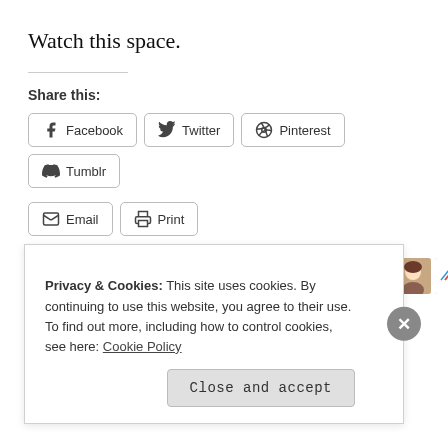Watch this space.
Share this:
Facebook
Twitter
Pinterest
Tumblr
Email
Print
[Figure (other): Like button with star icon and 10 blogger avatars. 15 bloggers like this.]
15 bloggers like this.
Privacy & Cookies: This site uses cookies. By continuing to use this website, you agree to their use. To find out more, including how to control cookies, see here: Cookie Policy
Close and accept